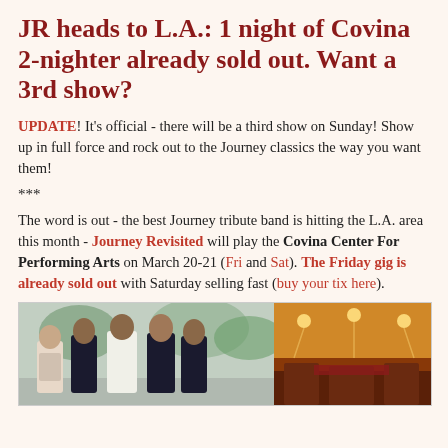JR heads to L.A.: 1 night of Covina 2-nighter already sold out. Want a 3rd show?
UPDATE! It's official - there will be a third show on Sunday! Show up in full force and rock out to the Journey classics the way you want them!
***
The word is out - the best Journey tribute band is hitting the L.A. area this month - Journey Revisited will play the Covina Center For Performing Arts on March 20-21 (Fri and Sat). The Friday gig is already sold out with Saturday selling fast (buy your tix here).
[Figure (photo): Two photos side by side: left shows a group of five band members posing outdoors; right shows the interior of the Covina Center For Performing Arts venue with warm lighting.]